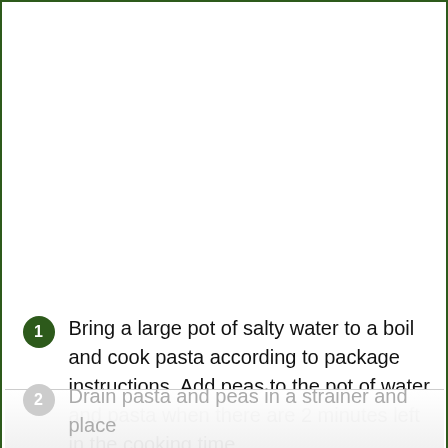Bring a large pot of salty water to a boil and cook pasta according to package instructions. Add peas to the pot of water and pasta when there are 2 minutes left in the cooking time.
Drain pasta and peas in a strainer and place